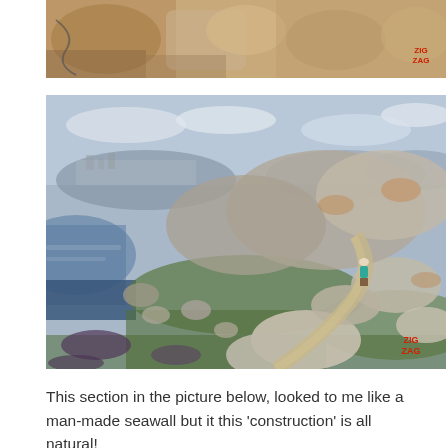[Figure (photo): Partial top view of large granite rock formations with sandy/rocky textures, cropped from above. ZIG ZAG watermark visible in lower right of crop.]
[Figure (photo): Landscape photograph of a rocky coastal scene with large smooth granite boulders, green scrubby vegetation, a winding sandy path, and a person in a teal jacket standing among the rocks. Water and distant town/hills visible in the background under a cloudy sky. ZIG ZAG watermark in lower right corner.]
This section in the picture below, looked to me like a man-made seawall but it this 'construction' is all natural!